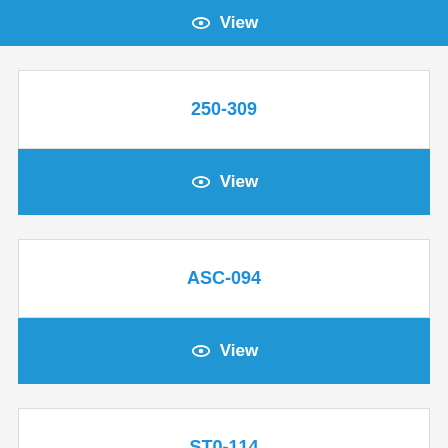[Figure (screenshot): Blue View button at top of page]
250-309
[Figure (screenshot): Blue View button for 250-309]
ASC-094
[Figure (screenshot): Blue View button for ASC-094]
ST0-114
[Figure (screenshot): Blue View button for ST0-114 (partially visible)]